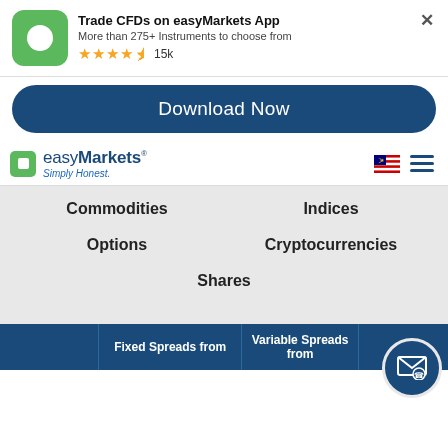[Figure (screenshot): easyMarkets app banner with green app icon, title 'Trade CFDs on easyMarkets App', subtitle 'More than 275+ Instruments to choose from', 4.5 star rating with 15k reviews, and a close button.]
Trade CFDs on easyMarkets App
More than 275+ Instruments to choose from
15k
Download Now
[Figure (logo): easyMarkets logo with green square icon and text 'easyMarkets Simply Honest.']
Commodities
Indices
Options
Cryptocurrencies
Shares
|  | Fixed Spreads from | Variable Spreads from | 1 |
| --- | --- | --- | --- |